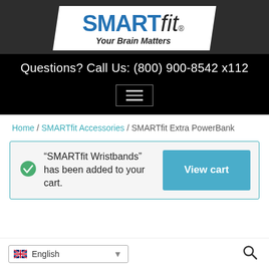[Figure (logo): SMARTfit logo with tagline 'Your Brain Matters' on white parallelogram shape against dark background]
Questions? Call Us: (800) 900-8542 x112
[Figure (other): Hamburger menu icon (three horizontal lines) in a rectangle border]
Home / SMARTfit Accessories / SMARTfit Extra PowerBank
"SMARTfit Wristbands" has been added to your cart.
English